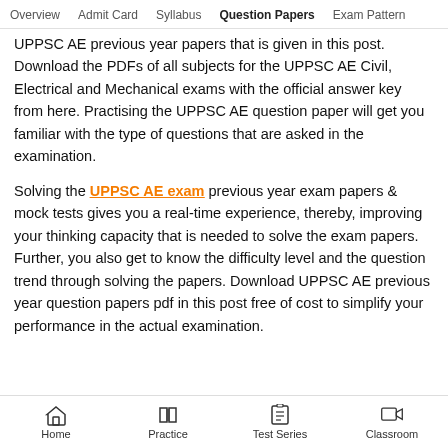Overview   Admit Card   Syllabus   Question Papers   Exam Pattern
UPPSC AE previous year papers that is given in this post. Download the PDFs of all subjects for the UPPSC AE Civil, Electrical and Mechanical exams with the official answer key from here. Practising the UPPSC AE question paper will get you familiar with the type of questions that are asked in the examination.
Solving the UPPSC AE exam previous year exam papers & mock tests gives you a real-time experience, thereby, improving your thinking capacity that is needed to solve the exam papers. Further, you also get to know the difficulty level and the question trend through solving the papers. Download UPPSC AE previous year question papers pdf in this post free of cost to simplify your performance in the actual examination.
Home   Practice   Test Series   Classroom